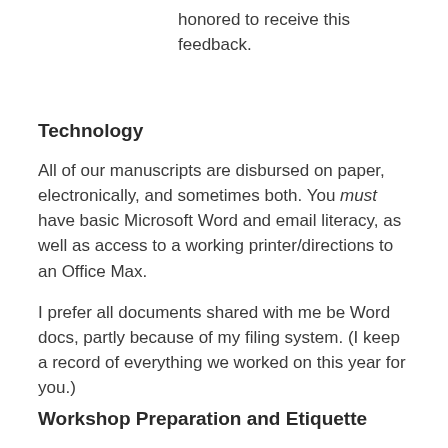honored to receive this feedback.
Technology
All of our manuscripts are disbursed on paper, electronically, and sometimes both. You must have basic Microsoft Word and email literacy, as well as access to a working printer/directions to an Office Max.
I prefer all documents shared with me be Word docs, partly because of my filing system. (I keep a record of everything we worked on this year for you.)
Workshop Preparation and Etiquette